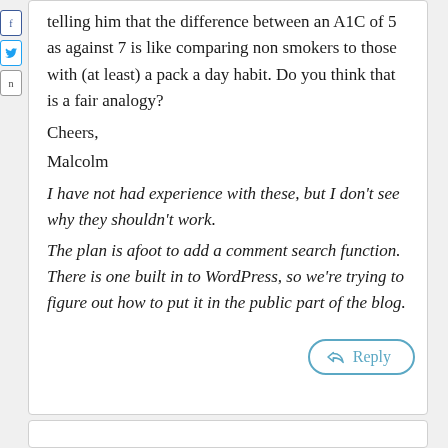telling him that the difference between an A1C of 5 as against 7 is like comparing non smokers to those with (at least) a pack a day habit. Do you think that is a fair analogy?
Cheers,
Malcolm
I have not had experience with these, but I don't see why they shouldn't work. The plan is afoot to add a comment search function. There is one built in to WordPress, so we're trying to figure out how to put it in the public part of the blog.